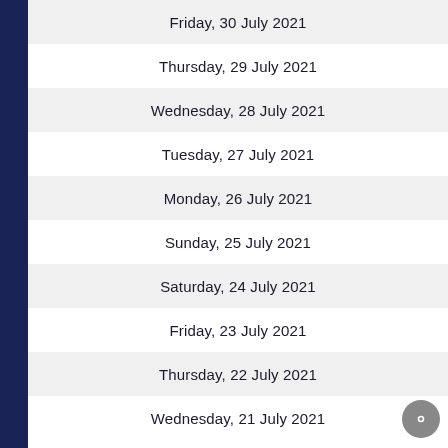Friday, 30 July 2021
Thursday, 29 July 2021
Wednesday, 28 July 2021
Tuesday, 27 July 2021
Monday, 26 July 2021
Sunday, 25 July 2021
Saturday, 24 July 2021
Friday, 23 July 2021
Thursday, 22 July 2021
Wednesday, 21 July 2021